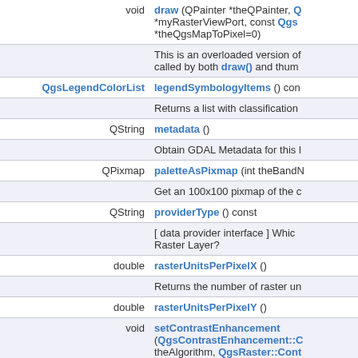| Return type | Method signature / Description |
| --- | --- |
| void | draw (QPainter *theQPainter, Qgs *myRasterViewPort, const Qgs *theQgsMapToPixel=0) |
|  | This is an overloaded version of called by both draw() and thumb |
| QgsLegendColorList | legendSymbologyItems () con |
|  | Returns a list with classification |
| QString | metadata () |
|  | Obtain GDAL Metadata for this l |
| QPixmap | paletteAsPixmap (int theBandN |
|  | Get an 100x100 pixmap of the c |
| QString | providerType () const |
|  | [ data provider interface ] Which Raster Layer? |
| double | rasterUnitsPerPixelX () |
|  | Returns the number of raster un |
| double | rasterUnitsPerPixelY () |
| void | setContrastEnhancement (QgsContrastEnhancement::C theAlgorithm, QgsRaster::Cont theLimits=QgsRaster::Contras QgsRectangle theExtent=Qgs |